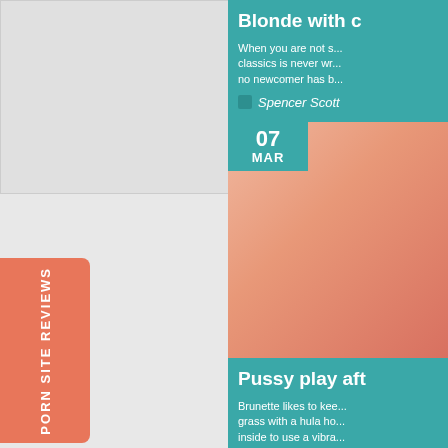[Figure (photo): Light gray placeholder image area on left side]
PORN SITE REVIEWS
[Figure (photo): Partial view of article with teal header - Blonde with c...]
Blonde with c
When you are not s... classics is never wr... no newcomer has b...
Spencer Scott
[Figure (photo): Date badge: 07 MAR]
[Figure (photo): Peach/skin tone photo]
Pussy play aft
Brunette likes to kee... grass with a hula ho... inside to use a vibra...
Aurielee FTV
06